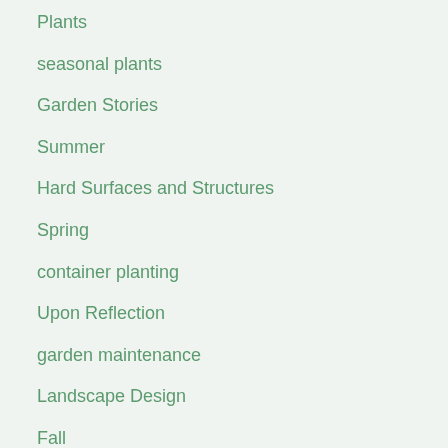Plants
seasonal plants
Garden Stories
Summer
Hard Surfaces and Structures
Spring
container planting
Upon Reflection
garden maintenance
Landscape Design
Fall
The Natural World
Color
Garden Design